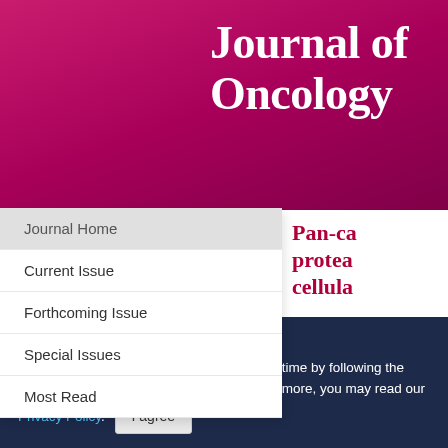Journal of Oncology
Journal Home
Current Issue
Forthcoming Issue
Special Issues
Most Read
Pan-ca protea cellula
Authors:
This site uses cookies
You can change your cookie settings at any time by following the instructions in our Cookie Policy. To find out more, you may read our Privacy Policy.